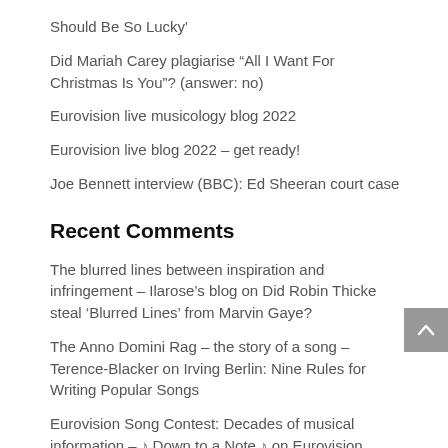Should Be So Lucky'
Did Mariah Carey plagiarise “All I Want For Christmas Is You”? (answer: no)
Eurovision live musicology blog 2022
Eurovision live blog 2022 – get ready!
Joe Bennett interview (BBC): Ed Sheeran court case
Recent Comments
The blurred lines between inspiration and infringement – Ilarose’s blog on Did Robin Thicke steal ‘Blurred Lines’ from Marvin Gaye?
The Anno Domini Rag – the story of a song – Terence-Blacker on Irving Berlin: Nine Rules for Writing Popular Songs
Eurovision Song Contest: Decades of musical information – ♪ Down to a Note ♪ on Eurovision Song Contest research